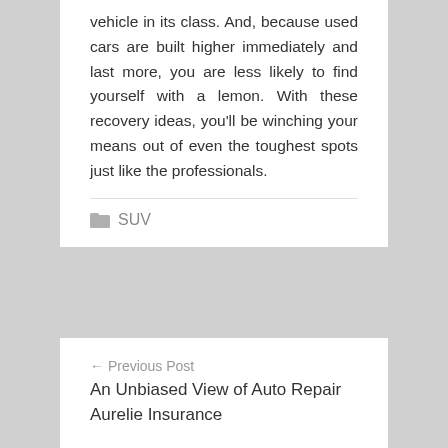vehicle in its class. And, because used cars are built higher immediately and last more, you are less likely to find yourself with a lemon. With these recovery ideas, you'll be winching your means out of even the toughest spots just like the professionals.
SUV
← Previous Post
An Unbiased View of Auto Repair Aurelie Insurance